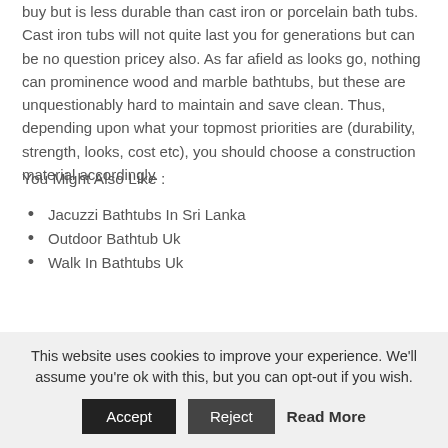buy but is less durable than cast iron or porcelain bath tubs. Cast iron tubs will not quite last you for generations but can be no question pricey also. As far afield as looks go, nothing can prominence wood and marble bathtubs, but these are unquestionably hard to maintain and save clean. Thus, depending upon what your topmost priorities are (durability, strength, looks, cost etc), you should choose a construction material accordingly.
You Might Also Like :
Jacuzzi Bathtubs In Sri Lanka
Outdoor Bathtub Uk
Walk In Bathtubs Uk
5) Type of bath tub: Bathtubs are mainly of two types – soaking or standard. A satisfactory bathtub is fine for regular bathing, but if you want a bathtub for therapeutic purposes as well, you should buy a soaking tub. A soaking tub allows your combination body to be
This website uses cookies to improve your experience. We'll assume you're ok with this, but you can opt-out if you wish. Accept Reject Read More